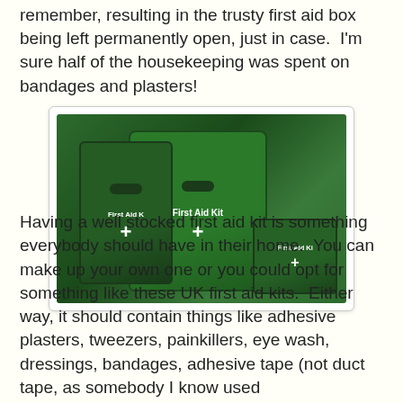remember, resulting in the trusty first aid box being left permanently open, just in case.  I'm sure half of the housekeeping was spent on bandages and plasters!
[Figure (photo): Photo of multiple green First Aid Kit boxes with white cross symbols and 'First Aid Kit' text on them, arranged at different angles and sizes against a light grey background.]
Having a well stocked first aid kit is something everybody should have in their home.  You can make up your own one or you could opt for something like these UK first aid kits.  Either way, it should contain things like adhesive plasters, tweezers, painkillers, eye wash, dressings, bandages, adhesive tape (not duct tape, as somebody I know used...